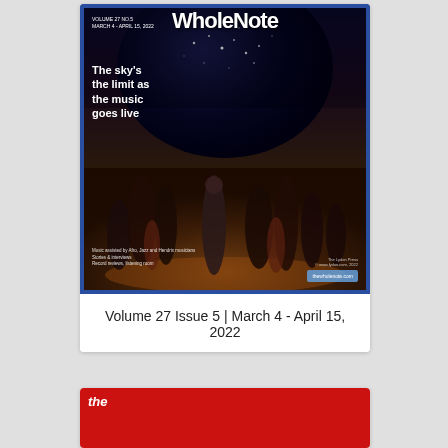[Figure (photo): WholeNote magazine cover, Volume 27 Issue 5. Blue border frame. Dark background with large dark globe/planet at top with stars. Text reads 'The sky's the limit as the music goes live'. Orchestra performers on stage photo. Bottom text mentions music, stories, reviews, listening room. Website thewholenote.com shown bottom right.]
Volume 27 Issue 5 | March 4 - April 15, 2022
[Figure (photo): Partially visible second magazine cover with red border/background. The word 'the' is visible in white italic text in lower left area.]